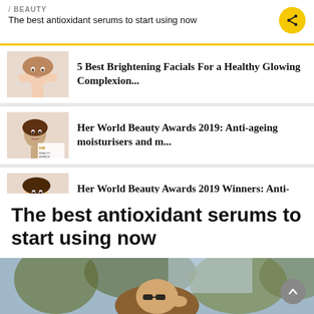/ BEAUTY
The best antioxidant serums to start using now
[Figure (photo): Thumbnail of woman touching face with both hands smiling]
5 Best Brightening Facials For a Healthy Glowing Complexion...
[Figure (photo): Thumbnail of woman applying moisturiser with Her World badge]
Her World Beauty Awards 2019: Anti-ageing moisturisers and m...
[Figure (photo): Thumbnail of woman touching face with Her World badge]
Her World Beauty Awards 2019 Winners: Anti-ageing Cleansers ...
The best antioxidant serums to start using now
[Figure (photo): Hero image of woman with sunglasses and long hair, outdoor background with trees and sky]